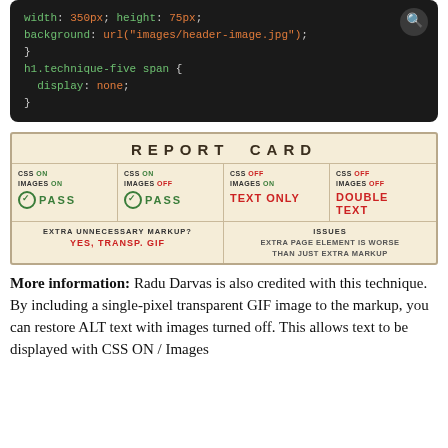[Figure (screenshot): CSS code block on dark background showing width, height, background, h1.technique-five span, and display: none styles]
[Figure (table-as-image): Report Card table comparing CSS ON/OFF and Images ON/OFF scenarios with PASS, TEXT ONLY, DOUBLE TEXT results and notes about extra unnecessary markup]
More information: Radu Darvas is also credited with this technique. By including a single-pixel transparent GIF image to the markup, you can restore ALT text with images turned off. This allows text to be displayed with CSS ON / Images